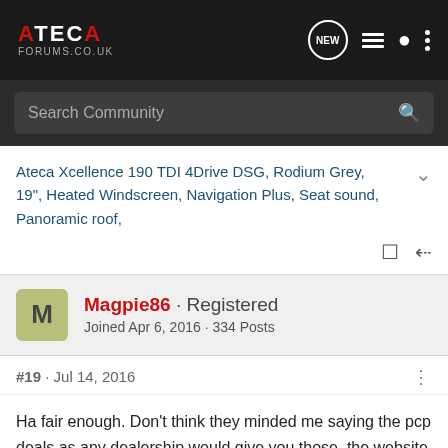ATECA FORUMS.CO.UK
Search Community
Ateca Xcellence 190 TDI 4Drive DSG, Rodium Grey, 19", Heated Windscreen, Navigation Plus, Seat sound, Panoramic roof,
Magpie86 · Registered
Joined Apr 6, 2016 · 334 Posts
#19 · Jul 14, 2016
Ha fair enough. Don't think they minded me saying the pcp deals as any dealership would give you those, the website even did. Sounds like you did ok then🙂 Glad your recent mental turmoil has ended! I enjoy looking every 3 years 🙂